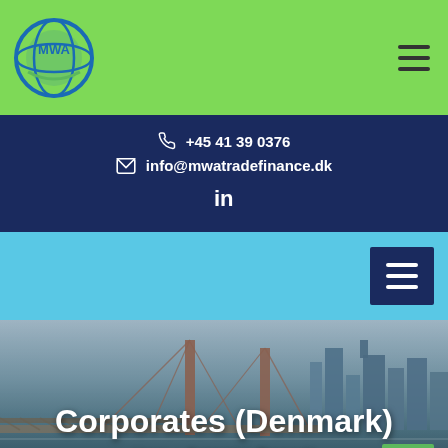[Figure (logo): MWA Trade Finance circular logo in blue/green tones]
+45 41 39 0376
info@mwatradefinance.dk
[Figure (other): LinkedIn 'in' icon]
Corporates (Denmark)
Home > Corporates (Denmark)
[Figure (photo): Bay Bridge and San Francisco skyline over water, used as hero background image]